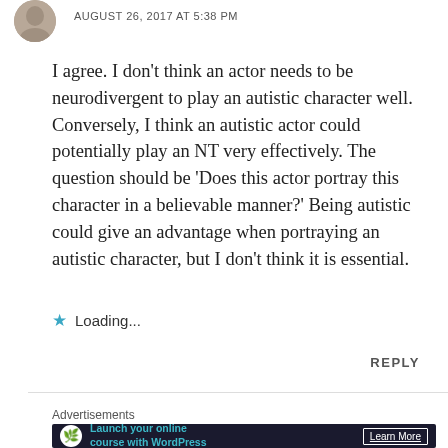AUGUST 26, 2017 AT 5:38 PM
I agree. I don't think an actor needs to be neurodivergent to play an autistic character well. Conversely, I think an autistic actor could potentially play an NT very effectively. The question should be 'Does this actor portray this character in a believable manner?' Being autistic could give an advantage when portraying an autistic character, but I don't think it is essential.
Loading...
REPLY
Advertisements
[Figure (other): Advertisement banner: Launch your online course with WordPress. Learn More button. Dark background with teal text and white circle icon with tree/bonsai symbol.]